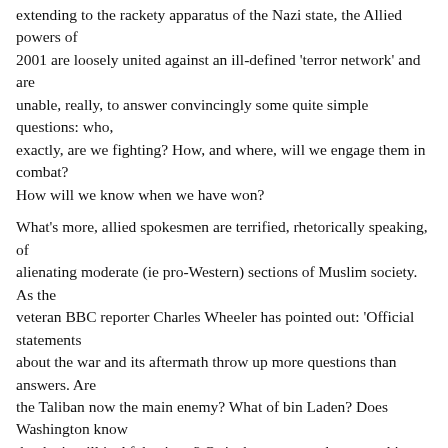extending to the rackety apparatus of the Nazi state, the Allied powers of 2001 are loosely united against an ill-defined 'terror network' and are unable, really, to answer convincingly some quite simple questions: who, exactly, are we fighting? How, and where, will we engage them in combat? How will we know when we have won?
What's more, allied spokesmen are terrified, rhetorically speaking, of alienating moderate (ie pro-Western) sections of Muslim society. As the veteran BBC reporter Charles Wheeler has pointed out: 'Official statements about the war and its aftermath throw up more questions than answers. Are the Taliban now the main enemy? What of bin Laden? Does Washington know that he is still in Afghanistan? Or is that no more than a working assumption?' In Afghanistan, we seem to have exchanged the fog of war for the fog of communiqu.